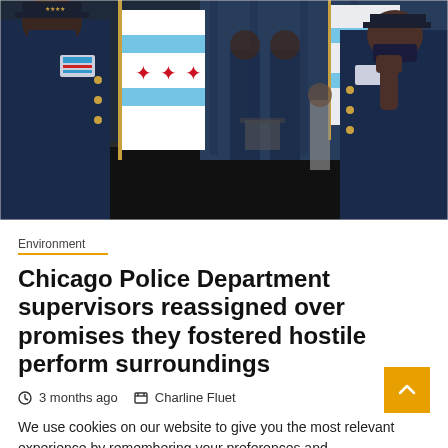[Figure (photo): Chicago police officers in dress uniforms at an official ceremony. Two officers face each other in the foreground, one with raised hand as if taking an oath. Chicago city flags visible in the background along with a blue curtain and other officers standing at attention. All are wearing masks.]
Environment
Chicago Police Department supervisors reassigned over promises they fostered hostile perform surroundings
3 months ago   Charline Fluet
We use cookies on our website to give you the most relevant experience by remembering your preferences and